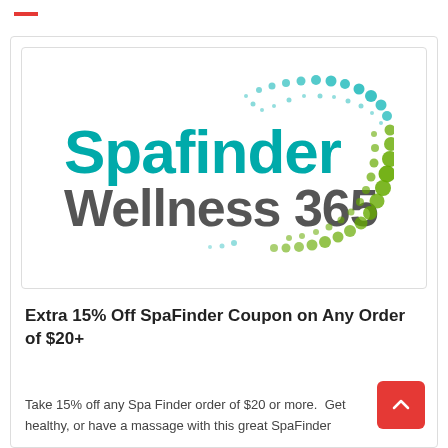—
[Figure (logo): Spafinder Wellness 365 logo with teal text 'Spafinder' and gray text 'Wellness 365', surrounded by a decorative arc of teal and green dots]
Extra 15% Off SpaFinder Coupon on Any Order of $20+
Take 15% off any Spa Finder order of $20 or more.  Get healthy, or have a massage with this great SpaFinder